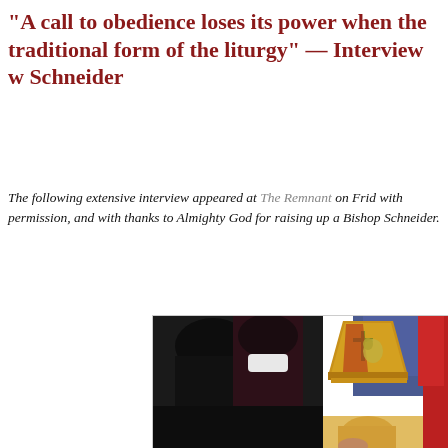“A call to obedience loses its power when the traditional form of the liturgy” — Interview w Schneider
The following extensive interview appeared at The Remnant on Frid with permission, and with thanks to Almighty God for raising up a Bishop Schneider.
[Figure (photo): Photo of Bishop Schneider wearing a golden mitre with religious emblems, partially visible, in a liturgical setting with other figures partially visible in the background.]